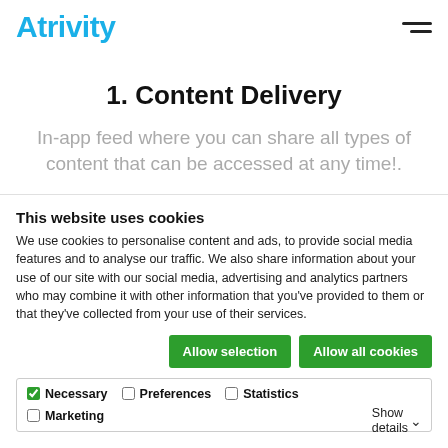Atrivity
1. Content Delivery
In-app feed where you can share all types of content that can be accessed at any time!.
This website uses cookies
We use cookies to personalise content and ads, to provide social media features and to analyse our traffic. We also share information about your use of our site with our social media, advertising and analytics partners who may combine it with other information that you've provided to them or that they've collected from your use of their services.
Allow selection | Allow all cookies
Necessary | Preferences | Statistics | Marketing | Show details